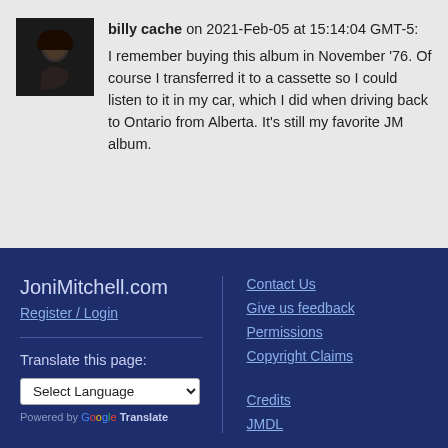[Figure (photo): Avatar photo of user 'billy cache' — dark image of a person]
billy cache on 2021-Feb-05 at 15:14:04 GMT-5: I remember buying this album in November '76. Of course I transferred it to a cassette so I could listen to it in my car, which I did when driving back to Ontario from Alberta. It's still my favorite JM album.
JoniMitchell.com
Register / Login
Contact Us
Give us feedback
Permissions
Copyright Claims
Translate this page:
Select Language
Powered by Google Translate
Credits
JMDL